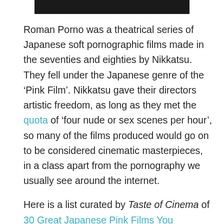[Figure (other): Black horizontal bar at top center of page]
Roman Porno was a theatrical series of Japanese soft pornographic films made in the seventies and eighties by Nikkatsu. They fell under the Japanese genre of the ‘Pink Film’. Nikkatsu gave their directors artistic freedom, as long as they met the quota of ‘four nude or sex scenes per hour’, so many of the films produced would go on to be considered cinematic masterpieces, in a class apart from the pornography we usually see around the internet.
Here is a list curated by Taste of Cinema of 30 Great Japanese Pink Films You